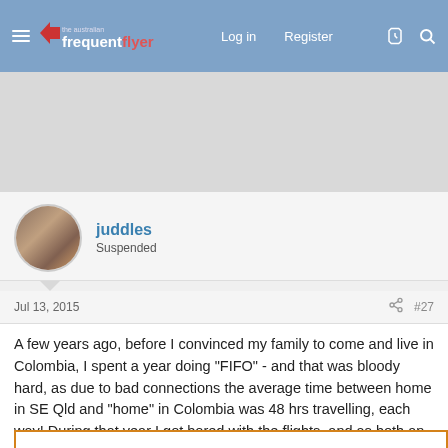the australian frequent flyer | Log in | Register
[Figure (screenshot): Advertisement banner placeholder (grey area)]
juddles
Suspended
Jul 13, 2015  #27
A few years ago, before I convinced my family to come and live in Colombia, I spent a year doing "FIFO" - and that was bloody hard, as due to bad connections the average time between home in SE Qld and "home" in Colombia was 48 hrs travelling, each way! During that year I got bored with the flights, and as both an avid aviation enthusiast, and with basically any route the same lo... So either vi... via
[Figure (advertisement): Kloxxado (naloxone HCl) nasal spray 8 mg advertisement with orange/gold diamond logo]